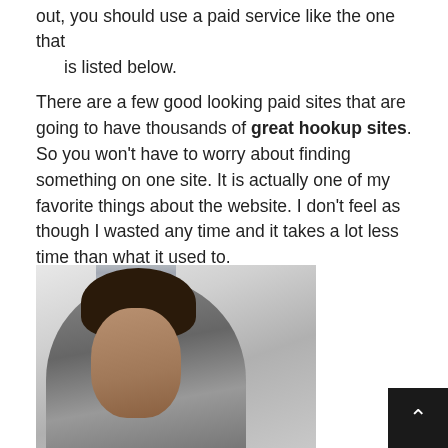out, you should use a paid service like the one that is listed below.
There are a few good looking paid sites that are going to have thousands of great hookup sites. So you won't have to worry about finding something on one site. It is actually one of my favorite things about the website. I don't feel as though I wasted any time and it takes a lot less time than what it used to.
[Figure (photo): A woman with dark hair in a gray top, hand raised to her head, photographed against a light background with curtains.]